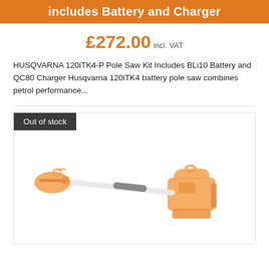includes Battery and Charger
£272.00 incl. VAT
HUSQVARNA 120iTK4-P Pole Saw Kit Includes BLi10 Battery and QC80 Charger Husqvarna 120iTK4 battery pole saw combines petrol performance...
[Figure (photo): Husqvarna 120iTK4-P battery pole saw shown in orange and white/grey, with 'Out of stock' label overlay in dark grey]